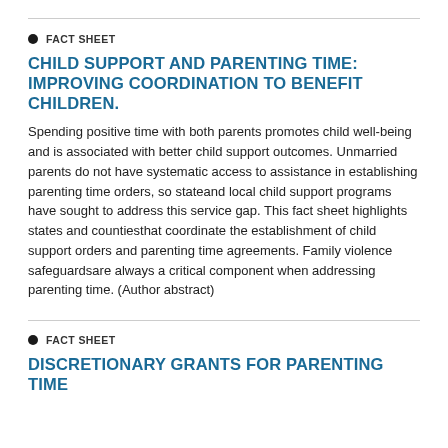FACT SHEET
CHILD SUPPORT AND PARENTING TIME: IMPROVING COORDINATION TO BENEFIT CHILDREN.
Spending positive time with both parents promotes child well-being and is associated with better child support outcomes. Unmarried parents do not have systematic access to assistance in establishing parenting time orders, so state and local child support programs have sought to address this service gap. This fact sheet highlights states and counties that coordinate the establishment of child support orders and parenting time agreements. Family violence safeguards are always a critical component when addressing parenting time. (Author abstract)
FACT SHEET
DISCRETIONARY GRANTS FOR PARENTING TIME